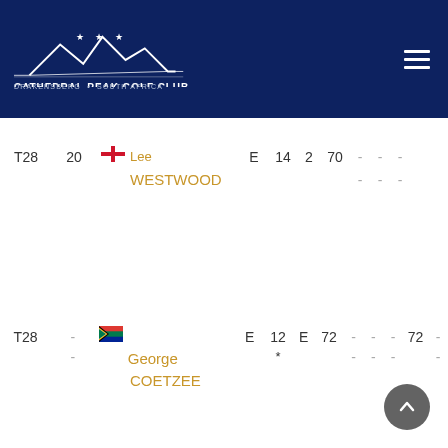Cathedral Peak Golf Club — Drakensberg • South Africa
| Pos | Num | Flag | Name | Score | Rd | Score2 | Total | R1 | R2 | R3 | Score3 |  |
| --- | --- | --- | --- | --- | --- | --- | --- | --- | --- | --- | --- | --- |
| T28 | 20 | ENG | Lee WESTWOOD | E | 14 | 2 | 70 | - | - | - | - | - |
| T28 | - | RSA | George COETZEE | E | 12 | E | 72 | - | - | - | 72 | - |